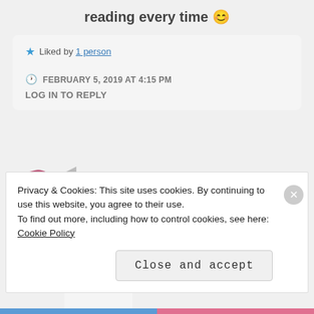reading every time 😊
★ Liked by 1 person
FEBRUARY 5, 2019 AT 4:15 PM
LOG IN TO REPLY
[Figure (illustration): User avatar icon with pink/rose decorative pattern]
Marie
Privacy & Cookies: This site uses cookies. By continuing to use this website, you agree to their use. To find out more, including how to control cookies, see here: Cookie Policy
Close and accept